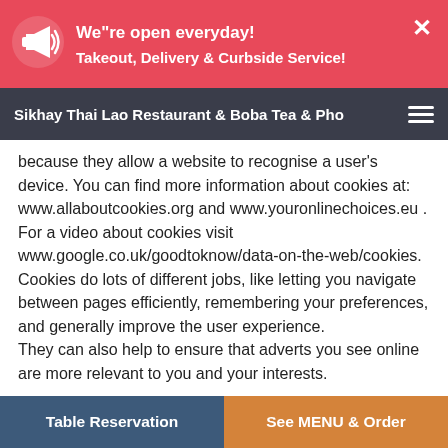We"re open everyday! Takeout, Delivery & Curbside Service!
Sikhay Thai Lao Restaurant & Boba Tea & Pho
because they allow a website to recognise a user's device. You can find more information about cookies at: www.allaboutcookies.org and www.youronlinechoices.eu . For a video about cookies visit www.google.co.uk/goodtoknow/data-on-the-web/cookies. Cookies do lots of different jobs, like letting you navigate between pages efficiently, remembering your preferences, and generally improve the user experience. They can also help to ensure that adverts you see online are more relevant to you and your interests.

You may set and/or adjust your (browser) settings and preferences regarding cookies at any time, and you may
Table Reservation | See MENU & Order